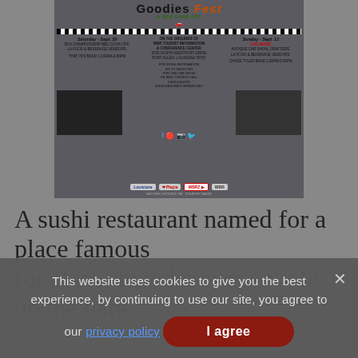[Figure (illustration): Advertisement for Goodies Fest & BBQ Cook-Off event. Shows event details for Saturday Sept 10 and Sunday Sept 11. Includes photos of bands, venue information at WBR Tourist Information & Conference Center, 3750 North Westport Drive, Port Allen, Louisiana 70767. Features Louisiana, WBRZ, and other sponsor logos.]
A sushi restaurant named for a place famous for clam chowder suddenly lit up the dark
This website uses cookies to give you the best experience, by continuing to use our site, you agree to our privacy policy